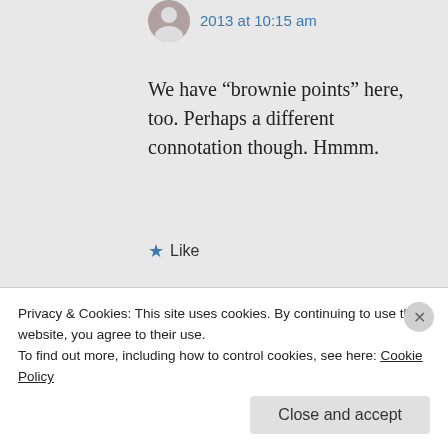2013 at 10:15 am
We have “brownie points” here, too. Perhaps a different connotation though. Hmmm.
★ Like
↪ Reply
margaret21 on June 2, 2013 at 12:40 pm
Privacy & Cookies: This site uses cookies. By continuing to use this website, you agree to their use.
To find out more, including how to control cookies, see here: Cookie Policy
Close and accept